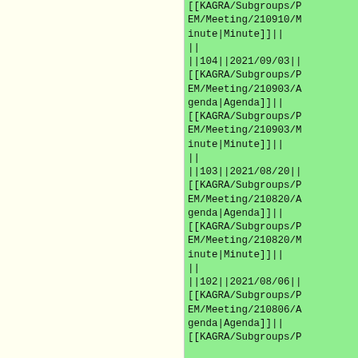[[KAGRA/Subgroups/PEM/Meeting/210910/Minute|Minute]]
||
||104||2021/09/03||[[KAGRA/Subgroups/PEM/Meeting/210903/Agenda|Agenda]]||[[KAGRA/Subgroups/PEM/Meeting/210903/Minute|Minute]]
||
||103||2021/08/20||[[KAGRA/Subgroups/PEM/Meeting/210820/Agenda|Agenda]]||[[KAGRA/Subgroups/PEM/Meeting/210820/Minute|Minute]]
||
||102||2021/08/06||[[KAGRA/Subgroups/PEM/Meeting/210806/Agenda|Agenda]]||[[KAGRA/Subgroups/P